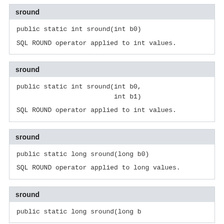sround
public static int sround(int b0)
SQL ROUND operator applied to int values.
sround
public static int sround(int b0,
                         int b1)
SQL ROUND operator applied to int values.
sround
public static long sround(long b0)
SQL ROUND operator applied to long values.
sround